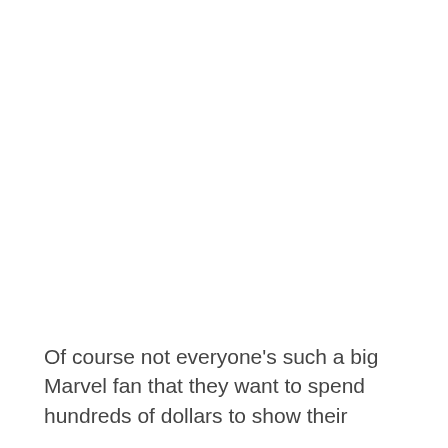Of course not everyone's such a big Marvel fan that they want to spend hundreds of dollars to show their